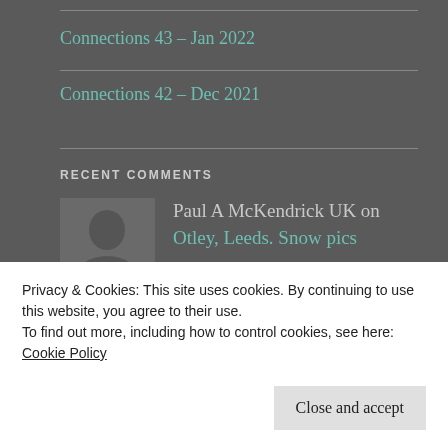Connections 43 – Jan 2022
Connections 42 – Dec 2021
RECENT COMMENTS
Paul A McKendrick UK on Otley, Leeds. Snow pics
Marty Pickett on Otley, Leeds. Snow pics
Paul A McKendrick UK on Connections 21 – Feb
Privacy & Cookies: This site uses cookies. By continuing to use this website, you agree to their use.
To find out more, including how to control cookies, see here: Cookie Policy